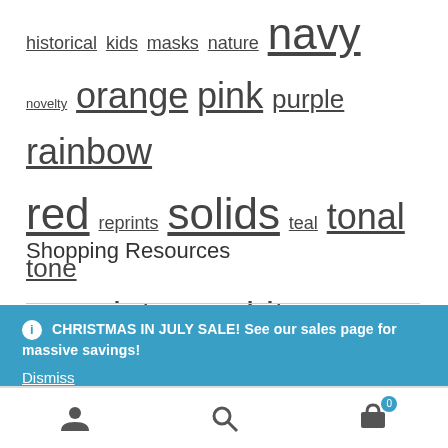historical kids masks nature navy novelty orange pink purple rainbow red reprints solids teal tonal tone on tone vintage white wood yellow
Shopping Resources
CHRISTMAS IN JULY SALE! See our sales page for massive savings! Dismiss
[Figure (other): Bottom navigation bar with user account icon, search icon, and shopping cart icon with badge showing 0]